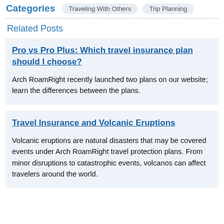Categories  Traveling With Others  Trip Planning
Related Posts
Pro vs Pro Plus: Which travel insurance plan should I choose?
Arch RoamRight recently launched two plans on our website; learn the differences between the plans.
Travel Insurance and Volcanic Eruptions
Volcanic eruptions are natural disasters that may be covered events under Arch RoamRight travel protection plans. From minor disruptions to catastrophic events, volcanos can affect travelers around the world.